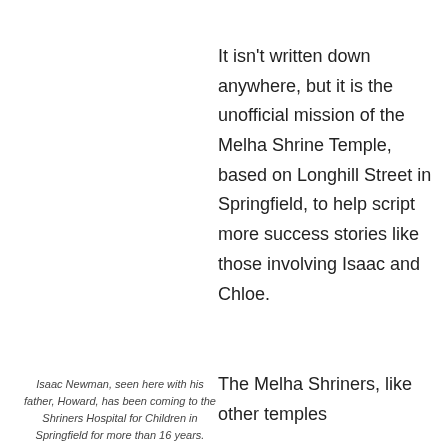[Figure (photo): Photo of Isaac Newman with his father Howard at Shriners Hospital for Children in Springfield]
Isaac Newman, seen here with his father, Howard, has been coming to the Shriners Hospital for Children in Springfield for more than 16 years.
It isn't written down anywhere, but it is the unofficial mission of the Melha Shrine Temple, based on Longhill Street in Springfield, to help script more success stories like those involving Isaac and Chloe.
The Melha Shriners, like other temples